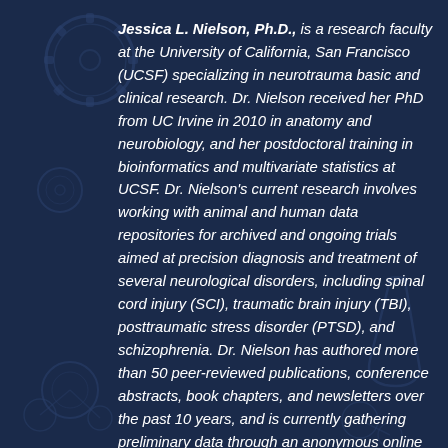Jessica L. Nielson, Ph.D., is a research faculty at the University of California, San Francisco (UCSF) specializing in neurotrauma basic and clinical research. Dr. Nielson received her PhD from UC Irvine in 2010 in anatomy and neurobiology, and her postdoctoral training in bioinformatics and multivariate statistics at UCSF. Dr. Nielson's current research involves working with animal and human data repositories for archived and ongoing trials aimed at precision diagnosis and treatment of several neurological disorders, including spinal cord injury (SCI), traumatic brain injury (TBI), posttraumatic stress disorder (PTSD), and schizophrenia. Dr. Nielson has authored more than 50 peer-reviewed publications, conference abstracts, book chapters, and newsletters over the past 10 years, and is currently gathering preliminary data through an anonymous online survey to assess user-reported risks and benefits of the ayahuasca experience in various ceremonial